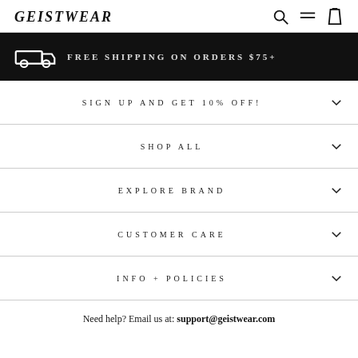GEISTWEAR
[Figure (infographic): Black banner with truck icon and text FREE SHIPPING ON ORDERS $75+]
SIGN UP AND GET 10% OFF!
SHOP ALL
EXPLORE BRAND
CUSTOMER CARE
INFO + POLICIES
Need help? Email us at: support@geistwear.com